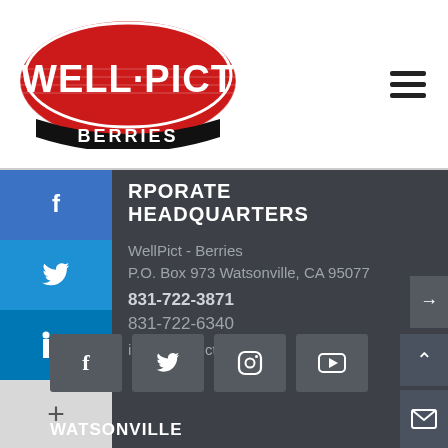[Figure (logo): Well-Pict Berries logo — red oval with horizontal stripes, white bold text WELL·PICT, black banner below with BERRIES]
CORPORATE HEADQUARTERS
WellPict - Berries
P.O. Box 973 Watsonville, CA 95077
831-722-3871
831-722-6340
info@wellpict.com
WATSONVILLE